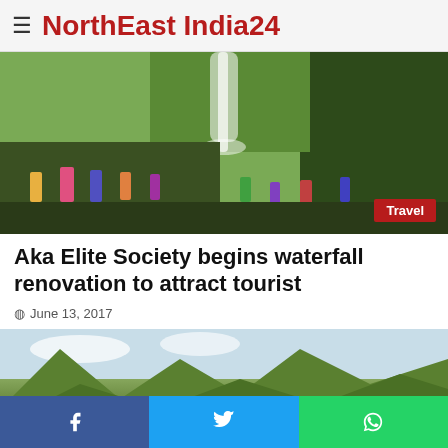NorthEast India24
[Figure (photo): People at a waterfall with green rocky cliffs in the background, Travel badge in bottom right]
Aka Elite Society begins waterfall renovation to attract tourist
June 13, 2017
[Figure (photo): Aerial view of green mountain ranges with a bridge/road below and partly cloudy sky]